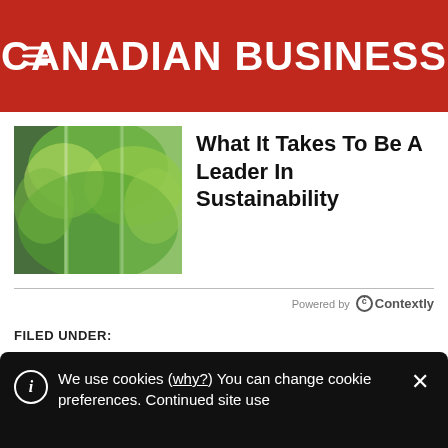CANADIAN BUSINESS
[Figure (photo): Photo of a green tree canopy reflected in glass building panels, with bright green leaves and blue sky visible.]
What It Takes To Be A Leader In Sustainability
Powered by Contextly
FILED UNDER:
APPLE
E-BOOK
E-BOOKS
E-READER
EBOOK
EBOOKS
EREADER
KOBO
NOWAK
PENGUIN
We use cookies (why?) You can change cookie preferences. Continued site use